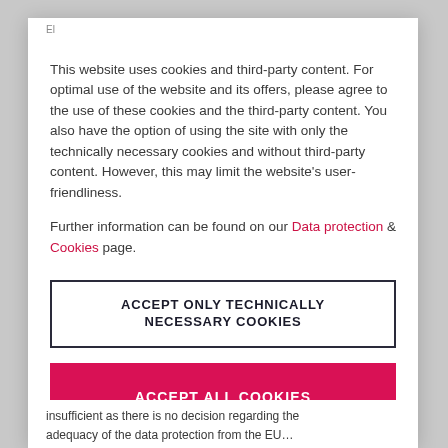This website uses cookies and third-party content. For optimal use of the website and its offers, please agree to the use of these cookies and the third-party content. You also have the option of using the site with only the technically necessary cookies and without third-party content. However, this may limit the website's user-friendliness.
Further information can be found on our Data protection & Cookies page.
ACCEPT ONLY TECHNICALLY NECESSARY COOKIES
ACCEPT ALL COOKIES
insufficient as there is no decision regarding the